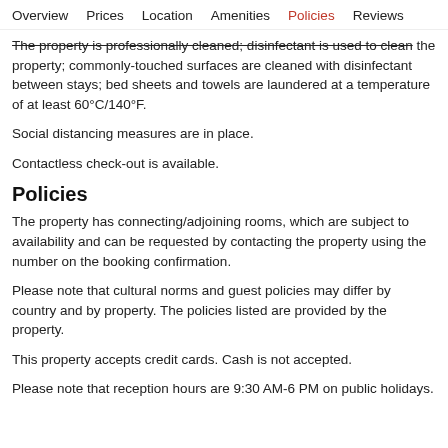Overview   Prices   Location   Amenities   Policies   Reviews
The property is professionally cleaned; disinfectant is used to clean the property; commonly-touched surfaces are cleaned with disinfectant between stays; bed sheets and towels are laundered at a temperature of at least 60°C/140°F.
Social distancing measures are in place.
Contactless check-out is available.
Policies
The property has connecting/adjoining rooms, which are subject to availability and can be requested by contacting the property using the number on the booking confirmation.
Please note that cultural norms and guest policies may differ by country and by property. The policies listed are provided by the property.
This property accepts credit cards. Cash is not accepted.
Please note that reception hours are 9:30 AM-6 PM on public holidays.